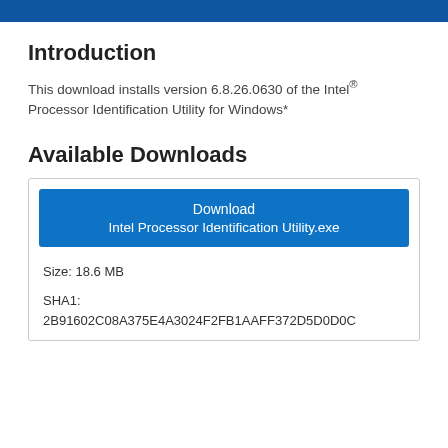Introduction
This download installs version 6.8.26.0630 of the Intel® Processor Identification Utility for Windows*
Available Downloads
Download
Intel Processor Identification Utility.exe
Size: 18.6 MB
SHA1: 2B91602C08A375E4A3024F2FB1AAFF372D5D0D0C